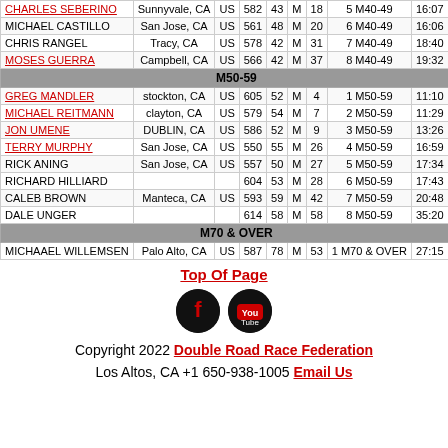| Name | City | Ctry | Bib | Age | Sex | Ovr | AG Place | Time | Pace |
| --- | --- | --- | --- | --- | --- | --- | --- | --- | --- |
| CHARLES SEBERINO | Sunnyvale, CA | US | 582 | 43 | M | 18 | 5 M40-49 | 16:07 | 8:3 |
| MICHAEL CASTILLO | San Jose, CA | US | 561 | 48 | M | 20 | 6 M40-49 | 16:06 | 8:3 |
| CHRIS RANGEL | Tracy, CA | US | 578 | 42 | M | 31 | 7 M40-49 | 18:40 | 10: |
| MOSES GUERRA | Campbell, CA | US | 566 | 42 | M | 37 | 8 M40-49 | 19:32 | 10: |
| M50-59 |  |  |  |  |  |  |  |  |  |
| GREG MANDLER | stockton, CA | US | 605 | 52 | M | 4 | 1 M50-59 | 11:10 | 6:0 |
| MICHAEL REITMANN | clayton, CA | US | 579 | 54 | M | 7 | 2 M50-59 | 11:29 | 6:1 |
| JON UMENE | DUBLIN, CA | US | 586 | 52 | M | 9 | 3 M50-59 | 13:26 | 7:1 |
| TERRY MURPHY | San Jose, CA | US | 550 | 55 | M | 26 | 4 M50-59 | 16:59 | 9:0 |
| RICK ANING | San Jose, CA | US | 557 | 50 | M | 27 | 5 M50-59 | 17:34 | 9:2 |
| RICHARD HILLIARD |  |  | 604 | 53 | M | 28 | 6 M50-59 | 17:43 | 9:3 |
| CALEB BROWN | Manteca, CA | US | 593 | 59 | M | 42 | 7 M50-59 | 20:48 | 11: |
| DALE UNGER |  |  | 614 | 58 | M | 58 | 8 M50-59 | 35:20 | 18: |
| M70 & OVER |  |  |  |  |  |  |  |  |  |
| MICHAAEL WILLEMSEN | Palo Alto, CA | US | 587 | 78 | M | 53 | 1 M70 & OVER | 27:15 | 14: |
Top Of Page
[Figure (logo): Facebook and YouTube social media icons]
Copyright 2022 Double Road Race Federation
Los Altos, CA +1 650-938-1005 Email Us